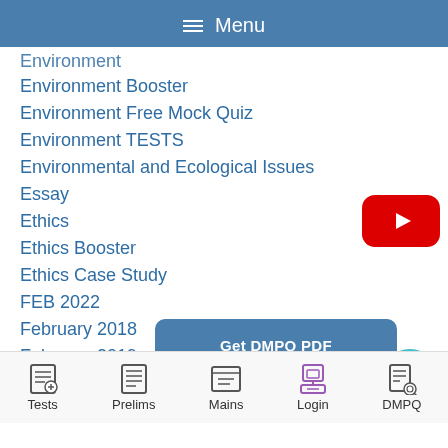Menu
Environment
Environment Booster
Environment Free Mock Quiz
Environment TESTS
Environmental and Ecological Issues
Essay
Ethics
Ethics Booster
Ethics Case Study
FEB 2022
February 2018
February 2019
[Figure (screenshot): YouTube play button (red rounded rectangle with white play triangle)]
[Figure (screenshot): Get DMPQ PDF button (blue rounded rectangle)]
[Figure (screenshot): WhatsApp icon (green circle with phone)]
[Figure (screenshot): Chat bubble icon overlay]
Tests  Prelims  Mains  Login  DMPQ